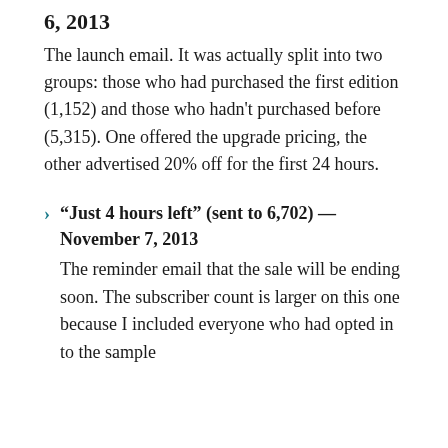6, 2013
The launch email. It was actually split into two groups: those who had purchased the first edition (1,152) and those who hadn't purchased before (5,315). One offered the upgrade pricing, the other advertised 20% off for the first 24 hours.
“Just 4 hours left” (sent to 6,702) — November 7, 2013
The reminder email that the sale will be ending soon. The subscriber count is larger on this one because I included everyone who had opted in to the sample